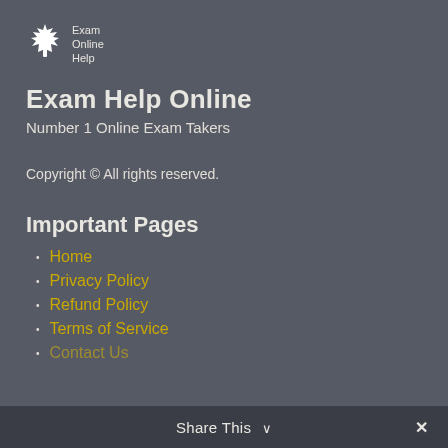[Figure (logo): Exam Online Help logo with maple leaf icon and text 'Exam Online Help']
Exam Help Online
Number 1 Online Exam Takers
Copyright © All rights reserved.
Important Pages
Home
Privacy Policy
Refund Policy
Terms of Service
Contact Us
Share This ∨  ✕